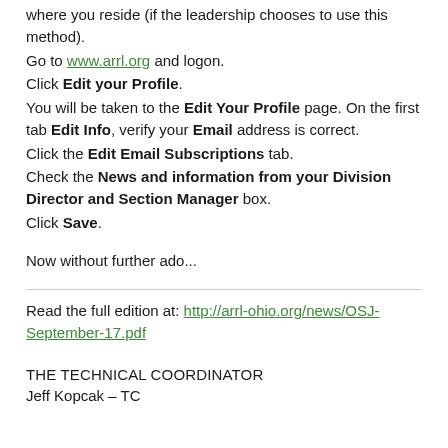where you reside (if the leadership chooses to use this method).
Go to www.arrl.org and logon.
Click Edit your Profile.
You will be taken to the Edit Your Profile page. On the first tab Edit Info, verify your Email address is correct.
Click the Edit Email Subscriptions tab.
Check the News and information from your Division Director and Section Manager box.
Click Save.
Now without further ado...
Read the full edition at: http://arrl-ohio.org/news/OSJ-September-17.pdf
THE TECHNICAL COORDINATOR
Jeff Kopcak – TC